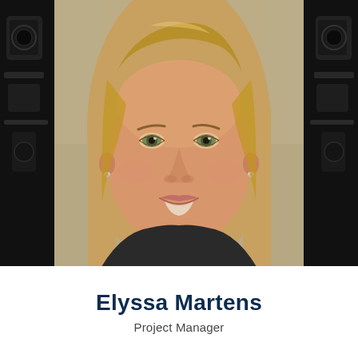[Figure (photo): Headshot portrait of a woman with straight blonde-brown hair, green-grey eyes, small stud earrings, wearing dark clothing, smiling slightly. Background is olive/tan. Dark equipment visible on left and right sides (studio/camera equipment). Photo occupies the upper ~78% of the page with dark side panels framing it.]
Elyssa Martens
Project Manager